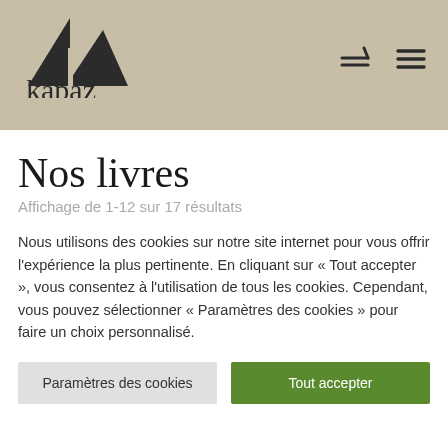[Figure (logo): Kapaz brand logo — triangular geometric mountain/K shape in dark charcoal above the text 'kapaz' in serif font]
Nos livres
Affichage de 1-12 sur 17 résultats
Nous utilisons des cookies sur notre site internet pour vous offrir l'expérience la plus pertinente. En cliquant sur « Tout accepter », vous consentez à l'utilisation de tous les cookies. Cependant, vous pouvez sélectionner « Paramètres des cookies » pour faire un choix personnalisé.
Paramètres des cookies
Tout accepter